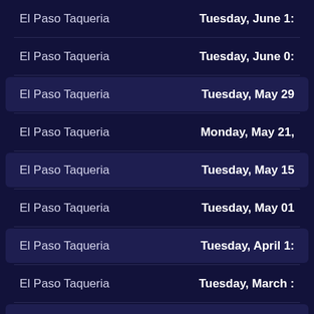El Paso Taqueria | Tuesday, June 1:
El Paso Taqueria | Tuesday, June 0:
El Paso Taqueria | Tuesday, May 29
El Paso Taqueria | Monday, May 21,
El Paso Taqueria | Tuesday, May 15
El Paso Taqueria | Tuesday, May 01
El Paso Taqueria | Tuesday, April 1:
El Paso Taqueria | Tuesday, March :
El Paso Taqueria | Tuesday, March :